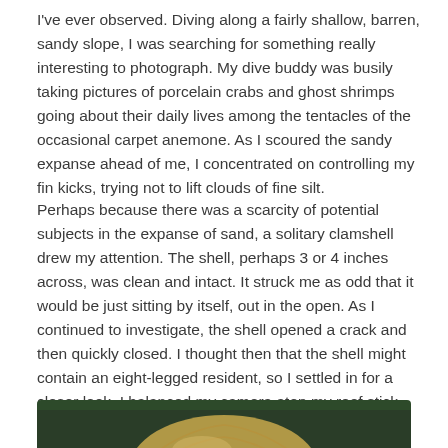I've ever observed. Diving along a fairly shallow, barren, sandy slope, I was searching for something really interesting to photograph. My dive buddy was busily taking pictures of porcelain crabs and ghost shrimps going about their daily lives among the tentacles of the occasional carpet anemone. As I scoured the sandy expanse ahead of me, I concentrated on controlling my fin kicks, trying not to lift clouds of fine silt.
Perhaps because there was a scarcity of potential subjects in the expanse of sand, a solitary clamshell drew my attention. The shell, perhaps 3 or 4 inches across, was clean and intact. It struck me as odd that it would be just sitting by itself, out in the open. As I continued to investigate, the shell opened a crack and then quickly closed. I thought then that the shell might contain an eight-legged resident, so I settled in for a closer look. I balanced my camera atop my reef stick, which I had gingerly pressed into the sand to form a makeshift mono-pod. My buddy noticed that I was “on point” and settled in next to me to see what had attracted my attention.
[Figure (photo): Partial view of a clamshell underwater against a dark green background]